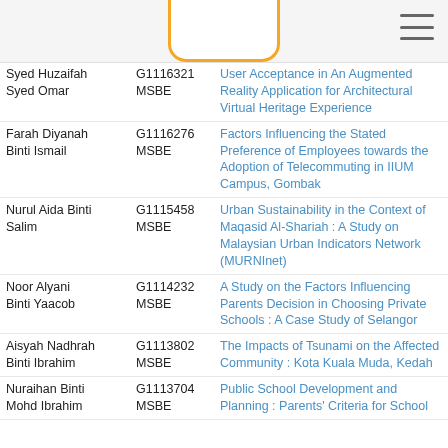| Name | ID/Program | Thesis Title |
| --- | --- | --- |
| Syed Huzaifah Syed Omar | G1116321 MSBE | User Acceptance in An Augmented Reality Application for Architectural Virtual Heritage Experience |
| Farah Diyanah Binti Ismail | G1116276 MSBE | Factors Influencing the Stated Preference of Employees towards the Adoption of Telecommuting in IIUM Campus, Gombak |
| Nurul Aida Binti Salim | G1115458 MSBE | Urban Sustainability in the Context of Maqasid Al-Shariah : A Study on Malaysian Urban Indicators Network (MURNInet) |
| Noor Alyani Binti Yaacob | G1114232 MSBE | A Study on the Factors Influencing Parents Decision in Choosing Private Schools : A Case Study of Selangor |
| Aisyah Nadhrah Binti Ibrahim | G1113802 MSBE | The Impacts of Tsunami on the Affected Community : Kota Kuala Muda, Kedah |
| Nuraihan Binti Mohd Ibrahim | G1113704 MSBE | Public School Development and Planning : Parents' Criteria for School |